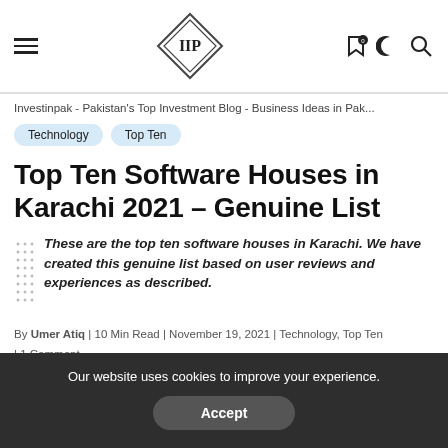IIP logo header with hamburger menu and icons
Investinpak - Pakistan's Top Investment Blog - Business Ideas in Pak...
Technology
Top Ten
Top Ten Software Houses in Karachi 2021 – Genuine List
These are the top ten software houses in Karachi. We have created this genuine list based on user reviews and experiences as described.
By Umer Atiq | 10 Min Read | November 19, 2021 | Technology, Top Ten | 1 Comment
Our website uses cookies to improve your experience.